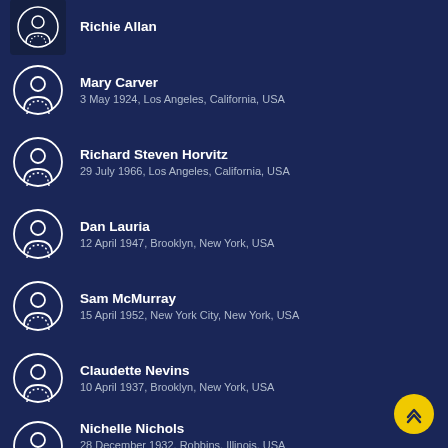Richie Allan
Mary Carver
3 May 1924, Los Angeles, California, USA
Richard Steven Horvitz
29 July 1966, Los Angeles, California, USA
Dan Lauria
12 April 1947, Brooklyn, New York, USA
Sam McMurray
15 April 1952, New York City, New York, USA
Claudette Nevins
10 April 1937, Brooklyn, New York, USA
Nichelle Nichols
28 December 1932, Robbins, Illinois, USA